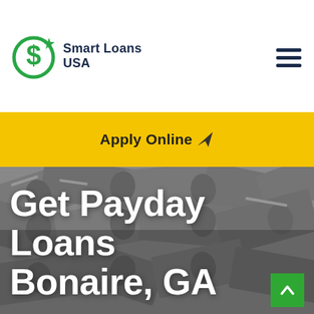[Figure (logo): Smart Loans USA logo with green dollar sign icon and dark blue bold text]
Apply Online ✈
[Figure (photo): Background image of scattered US dollar bills in grayscale with white bold text overlay reading 'Get Payday Loans Bonaire, GA']
Get Payday Loans Bonaire, GA